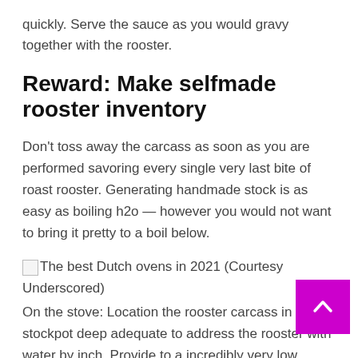quickly. Serve the sauce as you would gravy together with the rooster.
Reward: Make selfmade rooster inventory
Don't toss away the carcass as soon as you are performed savoring every single very last bite of roast rooster. Generating handmade stock is as easy as boiling h2o — however you would not want to bring it pretty to a boil below.
[Figure (photo): Small broken image placeholder icon followed by caption text: The best Dutch ovens in 2021 (Courtesy Underscored)]
On the stove: Location the rooster carcass in a stockpot deep adequate to address the rooster with water by inch. Provide to a incredibly very low simmer and co dinner for 4 hrs.